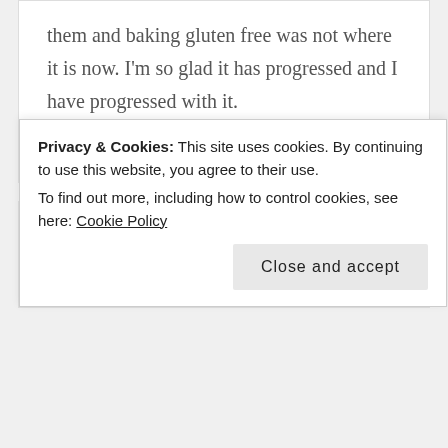them and baking gluten free was not where it is now. I'm so glad it has progressed and I have progressed with it.
Liked by 1 person
Nickimags @ Secret Library Book Blog  1
combination too but have never tried
Privacy & Cookies: This site uses cookies. By continuing to use this website, you agree to their use.
To find out more, including how to control cookies, see here: Cookie Policy
Close and accept